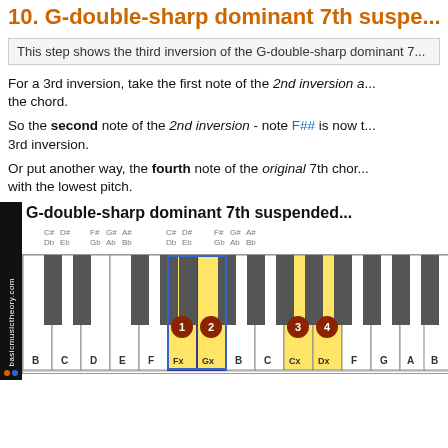10. G-double-sharp dominant 7th suspe...
This step shows the third inversion of the G-double-sharp dominant 7...
For a 3rd inversion, take the first note of the 2nd inversion a... the chord.
So the second note of the 2nd inversion - note F## is now t... 3rd inversion.
Or put another way, the fourth note of the original 7th chor... with the lowest pitch.
[Figure (illustration): Piano keyboard diagram showing G-double-sharp dominant 7th suspended chord with highlighted keys Fx, Gx, Cx, Dx marked with numbered circles 1-4. Black and white keys shown with sharp note labels above. Sidebar shows basicmusictheory.com branding.]